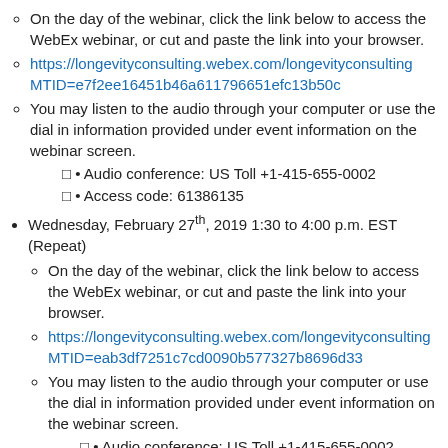On the day of the webinar, click the link below to access the WebEx webinar, or cut and paste the link into your browser.
https://longevityconsulting.webex.com/longevityconsulting/...MTID=e7f2ee16451b46a611796651efc13b50c
You may listen to the audio through your computer or use the dial in information provided under event information on the webinar screen.
• Audio conference: US Toll +1-415-655-0002
• Access code: 61386135
Wednesday, February 27th, 2019 1:30 to 4:00 p.m. EST (Repeat)
On the day of the webinar, click the link below to access the WebEx webinar, or cut and paste the link into your browser.
https://longevityconsulting.webex.com/longevityconsulting/...MTID=eab3df7251c7cd0090b577327b8696d33
You may listen to the audio through your computer or use the dial in information provided under event information on the webinar screen.
• Audio conference: US Toll +1-415-655-0002
• Access code: 669926184